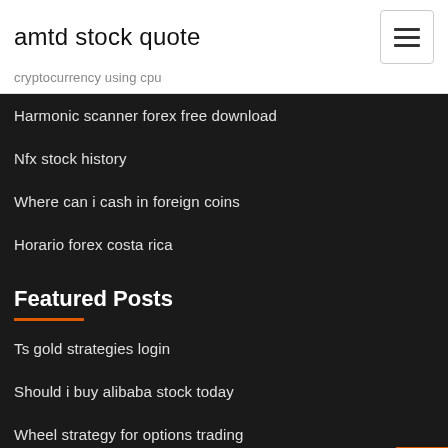amtd stock quote
cryptocurrency using cpu
Harmonic scanner forex free download
Nfx stock history
Where can i cash in foreign coins
Horario forex costa rica
Featured Posts
Ts gold strategies login
Should i buy alibaba stock today
Wheel strategy for options trading
Akamai stock forecast